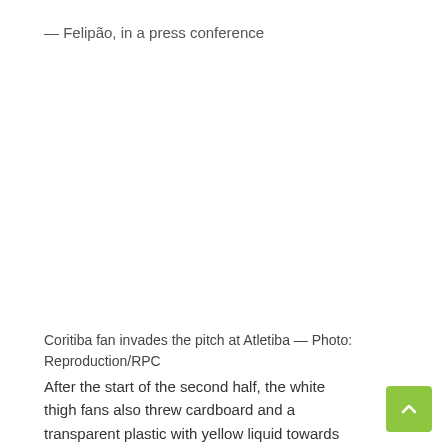— Felipão, in a press conference
Coritiba fan invades the pitch at Atletiba — Photo: Reproduction/RPC
After the start of the second half, the white thigh fans also threw cardboard and a transparent plastic with yellow liquid towards the Hurricane athletes who were warming up.